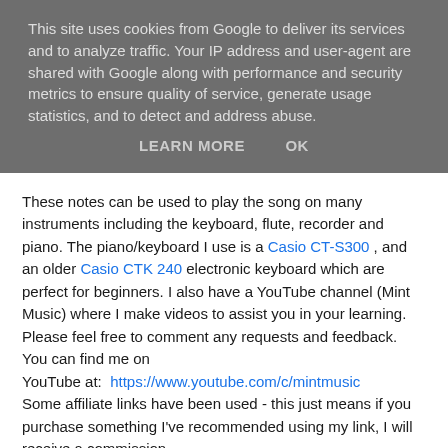This site uses cookies from Google to deliver its services and to analyze traffic. Your IP address and user-agent are shared with Google along with performance and security metrics to ensure quality of service, generate usage statistics, and to detect and address abuse.
LEARN MORE    OK
These notes can be used to play the song on many instruments including the keyboard, flute, recorder and piano. The piano/keyboard I use is a Casio CT-S300 , and an older Casio CTK 240 electronic keyboard which are perfect for beginners. I also have a YouTube channel (Mint Music) where I make videos to assist you in your learning. Please feel free to comment any requests and feedback. You can find me on
YouTube at:  https://www.youtube.com/c/mintmusic
Some affiliate links have been used - this just means if you purchase something I've recommended using my link, I will receive a commission.